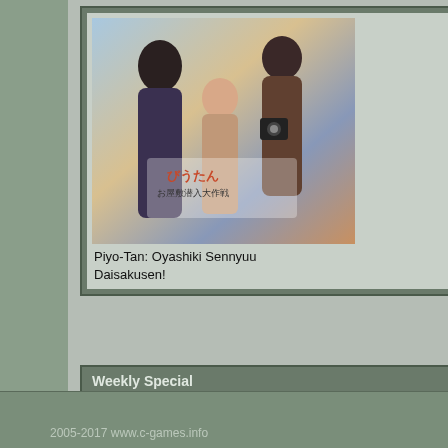[Figure (illustration): Anime/manga game cover for Piyo-Tan: Oyashiki Sennyuu Daisakusen! showing manga characters]
Piyo-Tan: Oyashiki Sennyuu Daisakusen!
Weekly Special
[Figure (photo): PS3 game cover for Caladrius Blaze showing a red-haired anime character with 18+ rating]
Caladrius Blaze
15$
Ashita no Joe: Masshiro ni Moe Tsu...
Asobi ni Ikuyo
Assault Suits Valken
Atelier Iris 2: The Azoth of Destiny
Atelier Iris 3: Grand Phantasm
Atelier Iris: Eternal Mana
Atelier Marie + Elie
Avatar: The Last Airbender - Into the...
Avatar: The Last Airbender - The Bu...
Ayakashibito
Azumi
2005-2017 www.c-games.info